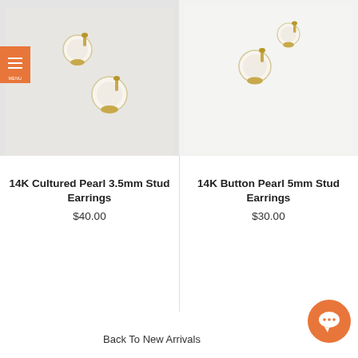[Figure (photo): Pearl stud earrings with gold setting, left product photo]
[Figure (photo): Pearl stud earrings with gold setting, right product photo]
14K Cultured Pearl 3.5mm Stud Earrings
$40.00
14K Button Pearl 5mm Stud Earrings
$30.00
Back To New Arrivals
[Figure (illustration): Orange chat bubble button icon]